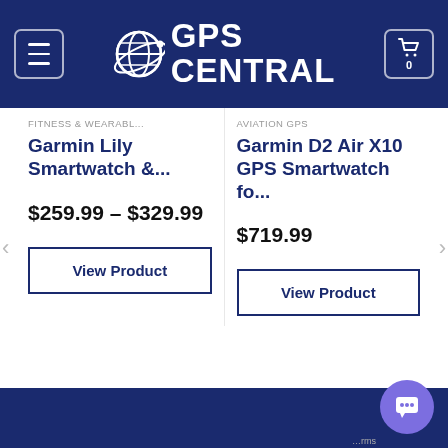[Figure (logo): GPS Central logo with globe icon and white bold text on dark blue header background]
FITNESS & WEARABL...
AVIATION GPS
Garmin Lily Smartwatch &...
Garmin D2 Air X10 GPS Smartwatch fo...
$259.99 – $329.99
$719.99
View Product
View Product